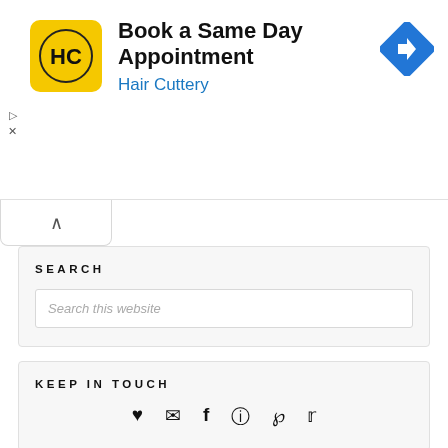[Figure (infographic): Hair Cuttery advertisement banner with yellow logo, text 'Book a Same Day Appointment / Hair Cuttery' and a blue navigation arrow icon on the right]
SEARCH
Search this website
KEEP IN TOUCH
[Figure (infographic): Row of social media icons: heart, email envelope, facebook f, instagram, pinterest p, twitter bird]
YOU MIGHT ALSO ENJOY THESE POPULAR POSTS